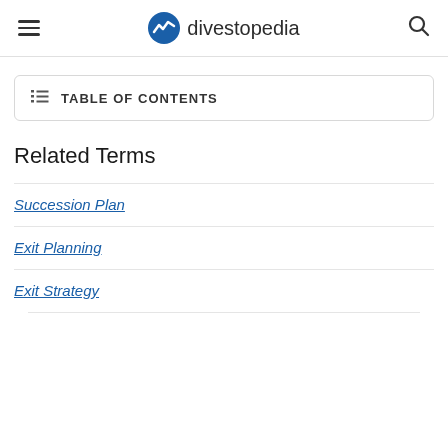divestopedia
TABLE OF CONTENTS
Related Terms
Succession Plan
Exit Planning
Exit Strategy